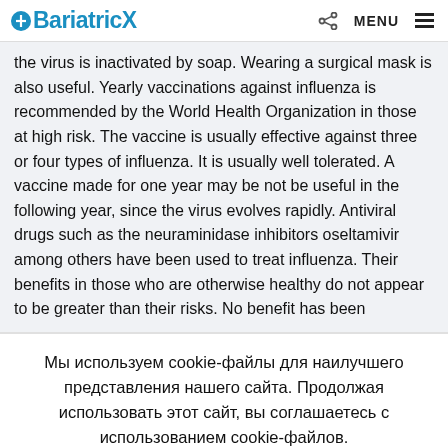BariatricX  MENU
the virus is inactivated by soap. Wearing a surgical mask is also useful. Yearly vaccinations against influenza is recommended by the World Health Organization in those at high risk. The vaccine is usually effective against three or four types of influenza. It is usually well tolerated. A vaccine made for one year may be not be useful in the following year, since the virus evolves rapidly. Antiviral drugs such as the neuraminidase inhibitors oseltamivir among others have been used to treat influenza. Their benefits in those who are otherwise healthy do not appear to be greater than their risks. No benefit has been
Мы используем cookie-файлы для наилучшего представления нашего сайта. Продолжая использовать этот сайт, вы соглашаетесь с использованием cookie-файлов.
Принять
Отказаться